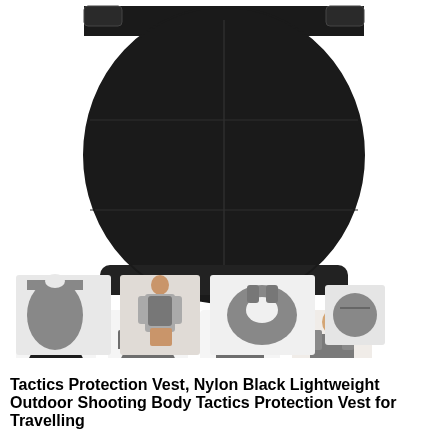[Figure (photo): Product photo collage of a tactical protection vest. Top: large close-up of black nylon vest from above showing strap slots and pocket panels. Middle row: four views of the vest — black front view, dark grey front view, dark grey chest plate view, and person wearing the vest from the back. Bottom row: grey vest side angle, person wearing vest from side/front, vest laid flat showing chest cutout, and small detail of corner/strap.]
Tactics Protection Vest, Nylon Black Lightweight Outdoor Shooting Body Tactics Protection Vest for Travelling